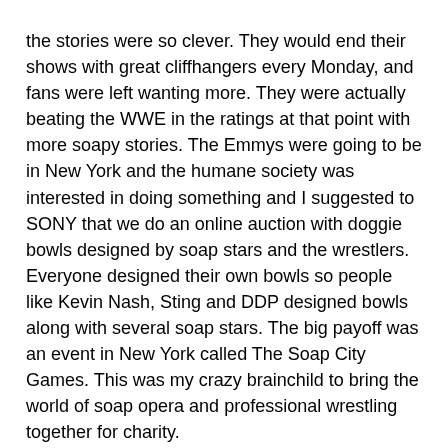the stories were so clever. They would end their shows with great cliffhangers every Monday, and fans were left wanting more. They were actually beating the WWE in the ratings at that point with more soapy stories. The Emmys were going to be in New York and the humane society was interested in doing something and I suggested to SONY that we do an online auction with doggie bowls designed by soap stars and the wrestlers. Everyone designed their own bowls so people like Kevin Nash, Sting and DDP designed bowls along with several soap stars. The big payoff was an event in New York called The Soap City Games. This was my crazy brainchild to bring the world of soap opera and professional wrestling together for charity.
We had teams from Y&R, DAYS and ATWT, GL and I think B&B, four of five soaps represented, and five or six actors per team. They were judged on different competitions and the team who won the most points, which turned out to be Y&R, we presented a $5,000 check in their honor to the Humane Society of New York. The judges were Sting, Kimberly Page and Mike Awesome from the WCW. It was the best time I've had in my life, and it was so much fun to